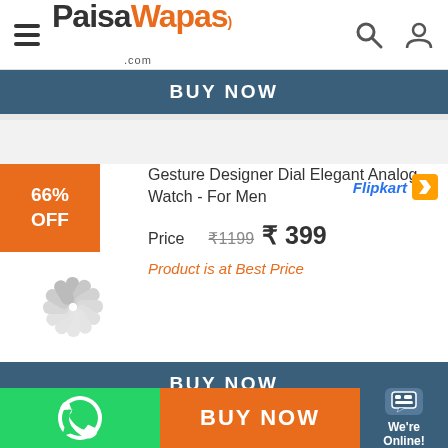[Figure (screenshot): PaisaWapas.com website header with hamburger menu, logo, search and user icons]
BUY NOW
[Figure (screenshot): Product card with 66% OFF badge, loading spinner image, Flipkart logo, product title, price and best price notice]
Gesture Designer Dial Elegant Analog Watch - For Men
Price ₹1199 ₹ 399
Product is at Best Price
BUY NOW
[Figure (screenshot): Second product card with 78% OFF badge, loading spinner, Flipkart logo, Leana LW503 Round Dial Analog Watch]
Leana LW503 Round Dial Analog Watch -
BUY NOW
We're Online!